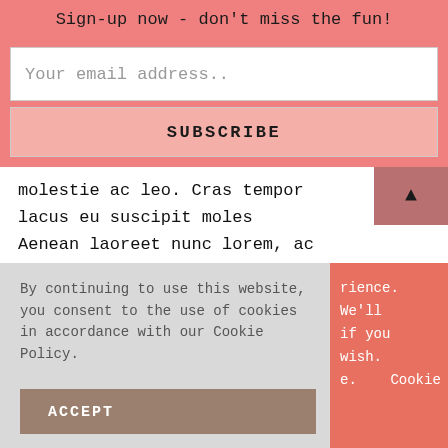Sign-up now - don't miss the fun!
Your email address..
SUBSCRIBE
molestie ac leo. Cras tempor lacus eu suscipit moles Aenean laoreet nunc lorem, ac mollis risus laoreet s... Donec tortor orci, eleifend sagittis placerat a, sagittis et elit. Etiam a egestas ante, a interdum nunc. Donec diam libero, auctor et nunc eu, elementum scelerisque urna.
luctus at
By continuing to use this website, you consent to the use of cookies in accordance with our Cookie Policy.
ACCEPT
rience. We'll if you wish. e.   Cookie